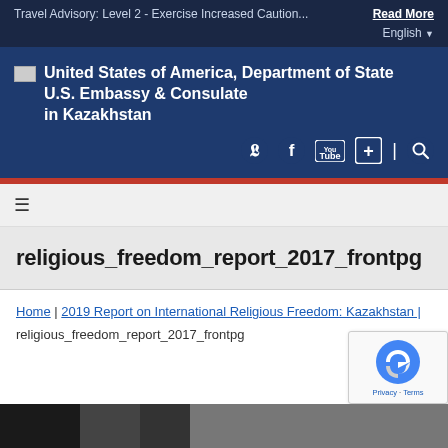Travel Advisory: Level 2 - Exercise Increased Caution... Read More
English
[Figure (logo): U.S. Department of State flag/seal placeholder icon followed by text: United States of America, Department of State — U.S. Embassy & Consulate in Kazakhstan]
[Figure (infographic): Social media icons: Twitter, Facebook, YouTube, plus/add icon, search icon]
religious_freedom_report_2017_frontpg
Home | 2019 Report on International Religious Freedom: Kazakhstan |
religious_freedom_report_2017_frontpg